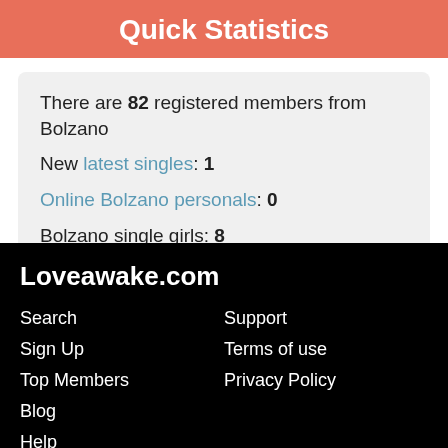Quick Statistics
There are 82 registered members from Bolzano
New latest singles: 1
Online Bolzano personals: 0
Bolzano single girls: 8
Bolzano single guys: 74
Loveawake.com
Search
Sign Up
Top Members
Blog
Help
Support
Terms of use
Privacy Policy